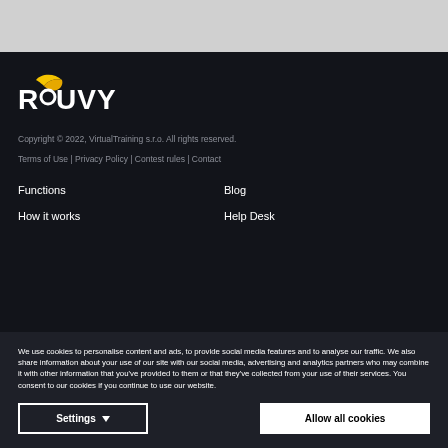[Figure (logo): ROUVY logo with yellow swoosh/wing mark and white bold text ROUVY]
Copyright © 2022, VirtualTraining s.r.o. All rights reserved.
Terms of Use | Privacy Policy | Contest rules | Contact
Functions
Blog
How it works
Help Desk
We use cookies to personalise content and ads, to provide social media features and to analyse our traffic. We also share information about your use of our site with our social media, advertising and analytics partners who may combine it with other information that you've provided to them or that they've collected from your use of their services. You consent to our cookies if you continue to use our website.
Settings
Allow all cookies